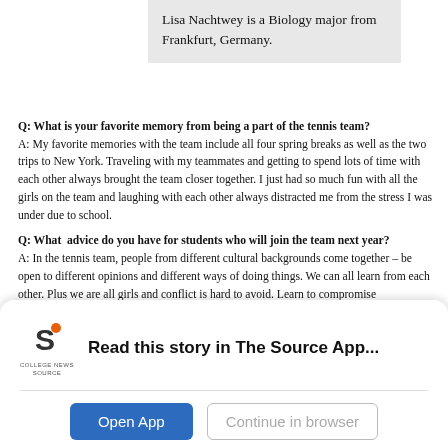Lisa Nachtwey is a Biology major from Frankfurt, Germany.
Q: What is your favorite memory from being a part of the tennis team?
A: My favorite memories with the team include all four spring breaks as well as the two trips to New York. Traveling with my teammates and getting to spend lots of time with each other always brought the team closer together. I just had so much fun with all the girls on the team and laughing with each other always distracted me from the stress I was under due to school.
Q: What  advice do you have for students who will join the team next year?
A: In the tennis team, people from different cultural backgrounds come together – be open to different opinions and different ways of doing things. We can all learn from each other. Plus we are all girls and conflict is hard to avoid. Learn to compromise
Read this story in The Source App...
Open App   Continue in browser